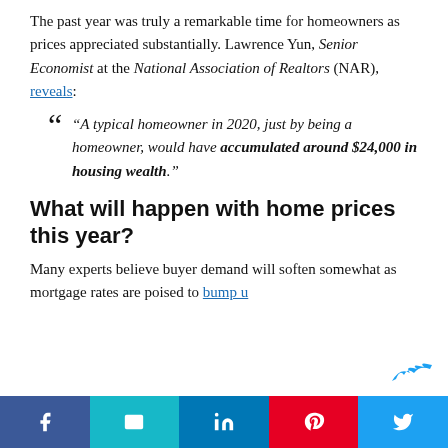The past year was truly a remarkable time for homeowners as prices appreciated substantially. Lawrence Yun, Senior Economist at the National Association of Realtors (NAR), reveals:
“A typical homeowner in 2020, just by being a homeowner, would have accumulated around $24,000 in housing wealth.”
What will happen with home prices this year?
Many experts believe buyer demand will soften somewhat as mortgage rates are poised to bump u